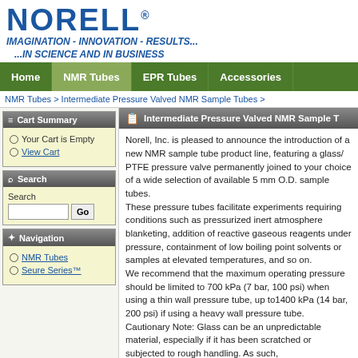[Figure (logo): NORELL company logo in blue with registered trademark symbol]
IMAGINATION - INNOVATION - RESULTS... ...IN SCIENCE AND IN BUSINESS
Home | NMR Tubes | EPR Tubes | Accessories
NMR Tubes > Intermediate Pressure Valved NMR Sample Tubes >
Cart Summary
Your Cart is Empty
View Cart
Search
Search
Navigation
NMR Tubes
Seure Series™
Intermediate Pressure Valved NMR Sample T...
Norell, Inc. is pleased to announce the introduction of a new NMR sample tube product line, featuring a glass/PTFE pressure valve permanently joined to your choice of a wide selection of available 5 mm O.D. sample tubes. These pressure tubes facilitate experiments requiring conditions such as pressurized inert atmosphere blanketing, addition of reactive gaseous reagents under pressure, containment of low boiling point solvents or samples at elevated temperatures, and so on. We recommend that the maximum operating pressure should be limited to 700 kPa (7 bar, 100 psi) when using a thin wall pressure tube, up to1400 kPa (14 bar, 200 psi) if using a heavy wall pressure tube. Cautionary Note: Glass can be an unpredictable material, especially if it has been scratched or subjected to rough handling. As such, EXTREME CAUTION should be exercised when using glass at elevated pressure or temperature, because it has the potential to fail suddenly and